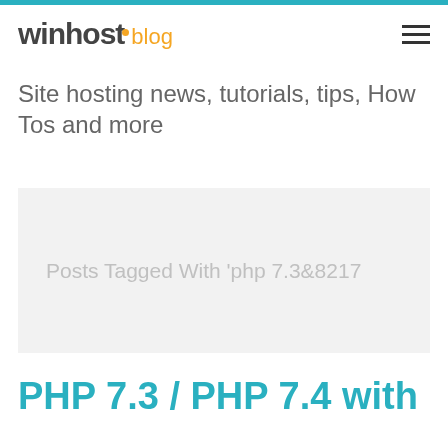winhost blog
Site hosting news, tutorials, tips, How Tos and more
Posts Tagged With 'php 7.3&8217
PHP 7.3 / PHP 7.4 with